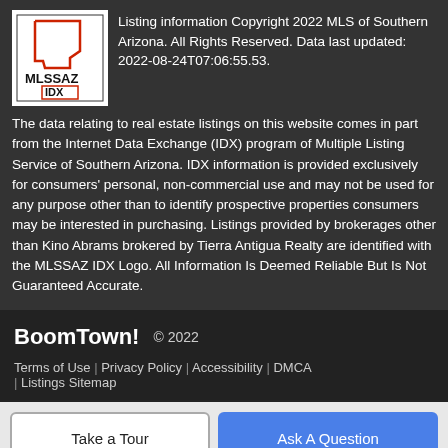Listing information Copyright 2022 MLS of Southern Arizona. All Rights Reserved. Data last updated: 2022-08-24T07:06:55.53.
The data relating to real estate listings on this website comes in part from the Internet Data Exchange (IDX) program of Multiple Listing Service of Southern Arizona. IDX information is provided exclusively for consumers' personal, non-commercial use and may not be used for any purpose other than to identify prospective properties consumers may be interested in purchasing. Listings provided by brokerages other than Kino Abrams brokered by Tierra Antigua Realty are identified with the MLSSAZ IDX Logo. All Information Is Deemed Reliable But Is Not Guaranteed Accurate.
BoomTown! © 2022
Terms of Use | Privacy Policy | Accessibility | DMCA | Listings Sitemap
Take a Tour
Ask A Question